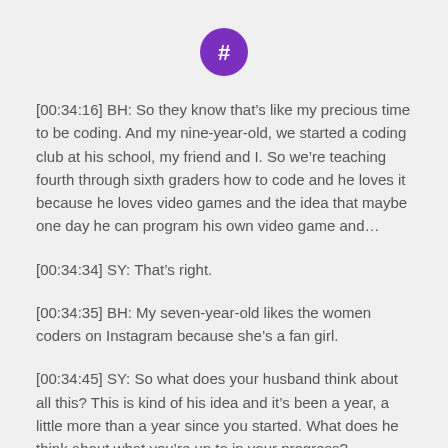[Figure (logo): Purple circle with white hashtag/speech bubble icon]
[00:34:16] BH: So they know that's like my precious time to be coding. And my nine-year-old, we started a coding club at his school, my friend and I. So we're teaching fourth through sixth graders how to code and he loves it because he loves video games and the idea that maybe one day he can program his own video game and…
[00:34:34] SY: That's right.
[00:34:35] BH: My seven-year-old likes the women coders on Instagram because she's a fan girl.
[00:34:45] SY: So what does your husband think about all this? This is kind of his idea and it's been a year, a little more than a year since you started. What does he think about what you're up to in your progress?